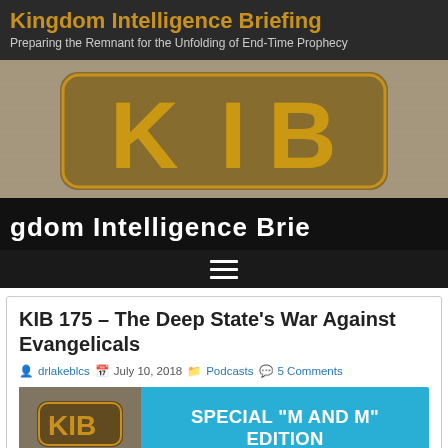Kingdom Intelligence Briefing
Preparing the Remnant for the Unfolding of End-Time Prophecy
[Figure (screenshot): KIB logo banner with gold 'KIB' letters on a Bible background, with text 'Kingdom Intelligence Briefing' below]
KIB 175 – The Deep State's War Against Evangelicals
drlakeblcs  July 10, 2018  Podcasts  5 Comments
[Figure (screenshot): Podcast episode banner with KIB logo thumbnail on the left and 'SPECIAL "M AND M" EDITION – Where we refuse to candy coat anything!' text on the right in cyan/white on blue background]